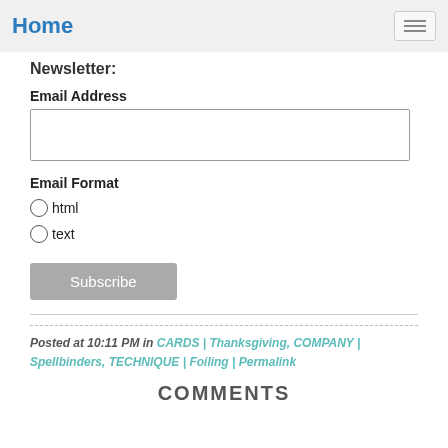Home
Newsletter:
Email Address
Email Format
html
text
Subscribe
Posted at 10:11 PM in CARDS | Thanksgiving, COMPANY | Spellbinders, TECHNIQUE | Foiling | Permalink
COMMENTS